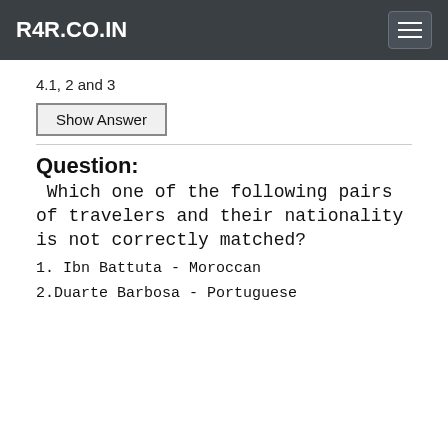R4R.CO.IN
4.1, 2 and 3
Show Answer
Question:
Which one of the following pairs of travelers and their nationality is not correctly matched?
1. Ibn Battuta - Moroccan
2.Duarte Barbosa - Portuguese